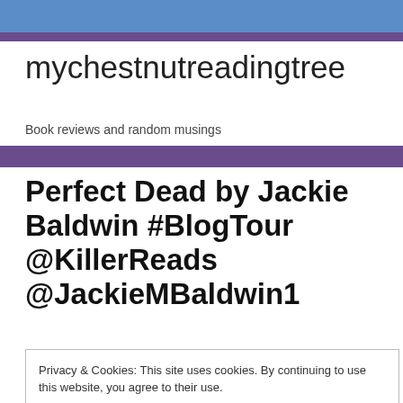mychestnutreadingtree
Book reviews and random musings
Perfect Dead by Jackie Baldwin #BlogTour @KillerReads @JackieMBaldwin1
Privacy & Cookies: This site uses cookies. By continuing to use this website, you agree to their use.
To find out more, including how to control cookies, see here: Cookie Policy
Close and accept